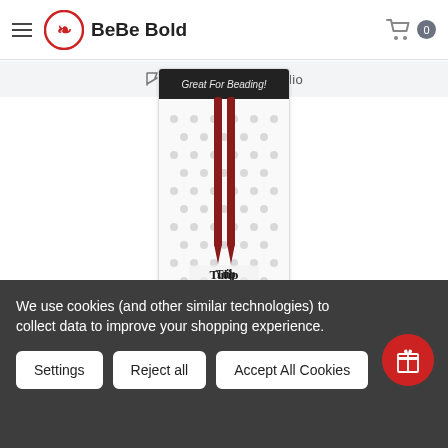BeBe Bold — hamburger menu, logo, cart (0)
Visit Our Shop/Studio
[Figure (photo): Product packaging for Tulip beading needles (Made in Japan). White polka-dot card with a dark header reading 'Great For Beading!' and two dark red needles displayed vertically. The Tulip brand logo is printed near the bottom with 'MADE IN JAPAN' text below.]
We use cookies (and other similar technologies) to collect data to improve your shopping experience.
Settings
Reject all
Accept All Cookies